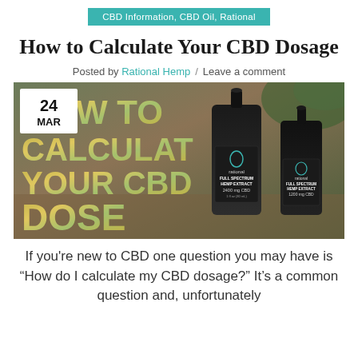CBD Information, CBD Oil, Rational
How to Calculate Your CBD Dosage
Posted by Rational Hemp / Leave a comment
[Figure (photo): Hero image showing 'How to Calculate Your CBD Dose' text with two Rational Hemp full spectrum hemp extract CBD oil bottles on a wooden surface. A date badge shows '24 MAR' in the upper left corner.]
If you're new to CBD one question you may have is “How do I calculate my CBD dosage?” It's a common question and, unfortunately